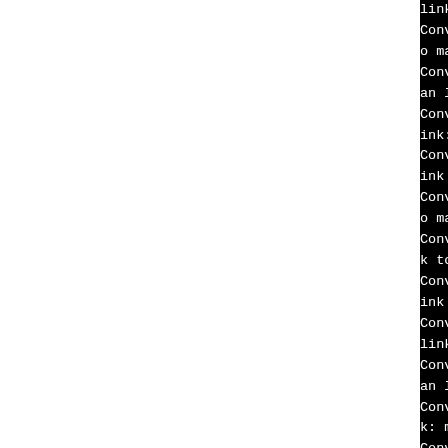link: man3/openssl_BN_mo... Converted /usr/share/man/... o man link: man3/openssl_S... Converted /usr/share/man/... an link: man3/openssl_RSA_... Converted /usr/share/man/... ink: man3/openssl_SSL_CTX_... Converted /usr/share/man/... ink to man link: man3/ope... Converted /usr/share/man/... o man link: man3/openssl_E... Converted /usr/share/man/... k to man link: man3/openss... Converted /usr/share/man/... ink to man link: man3/ope... Converted /usr/share/man/... link: man3/openssl_X509_NA... Converted /usr/share/man/... an link: man3/openssl_SSL_... Converted /usr/share/man/... k: man3/openssl_sha.3 Converted /usr/share/man/... o man link: man3/openssl_E... Converted /usr/share/man/